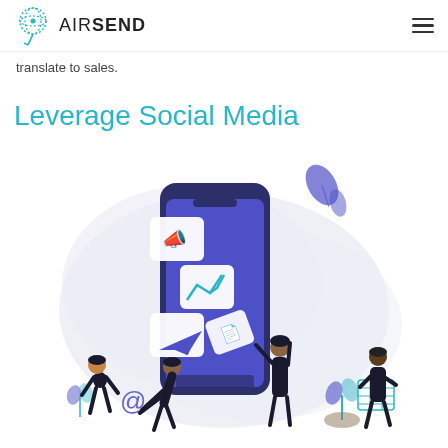AIRSEND
translate to sales.
Leverage Social Media
[Figure (illustration): Illustration of people interacting with a large smartphone showing social media icons (megaphone, chart, paper plane), with an @ symbol, a spreadsheet icon, and decorative leaves. Three figures are shown working around the phone.]